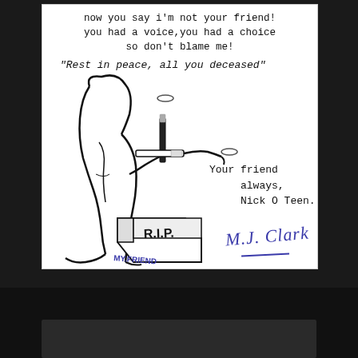now you say i'm not your friend!
you had a voice,you had a choice
so don't blame me!
"Rest in peace, all you deceased"
[Figure (illustration): Hand-drawn illustration of a grim reaper figure in a hooded robe holding a cigarette, standing next to a coffin/tombstone labeled 'R.I.P. MY FRIEND' with smoke rings rising from the cigarette]
Your friend always,
Nick O Teen.
M.J. Clark (signature)